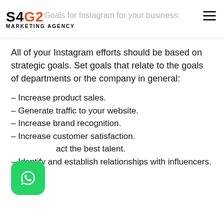S4G2 MARKETING AGENCY — Goals for Instagram for your business:
All of your Instagram efforts should be based on strategic goals. Set goals that relate to the goals of departments or the company in general:
– Increase product sales.
– Generate traffic to your website.
– Increase brand recognition.
– Increase customer satisfaction.
– Attract the best talent.
– Identify and establish relationships with influencers.
[Figure (logo): WhatsApp icon (green rounded square with phone handset)]